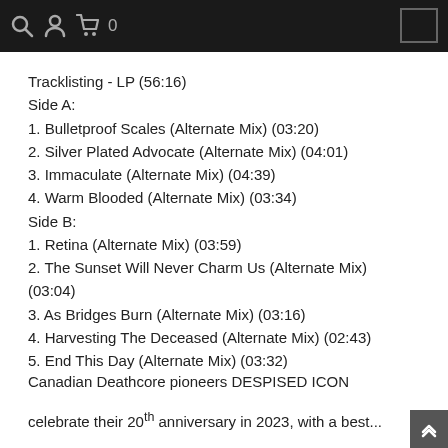🔍 👤 🛒0
Tracklisting - LP (56:16)
Side A:
1. Bulletproof Scales (Alternate Mix) (03:20)
2. Silver Plated Advocate (Alternate Mix) (04:01)
3. Immaculate (Alternate Mix) (04:39)
4. Warm Blooded (Alternate Mix) (03:34)
Side B:
1. Retina (Alternate Mix) (03:59)
2. The Sunset Will Never Charm Us (Alternate Mix) (03:04)
3. As Bridges Burn (Alternate Mix) (03:16)
4. Harvesting The Deceased (Alternate Mix) (02:43)
5. End This Day (Alternate Mix) (03:32)
Canadian Deathcore pioneers DESPISED ICON